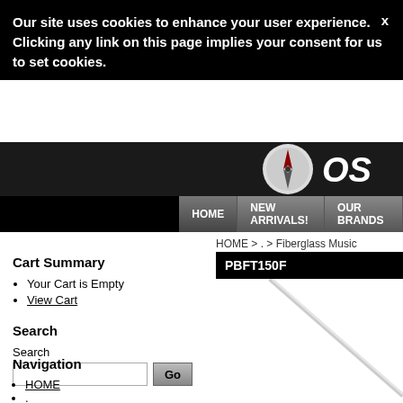Our site uses cookies to enhance your user experience. Clicking any link on this page implies your consent for us to set cookies.
[Figure (screenshot): Website logo showing a compass/clock circular icon and partial text 'OS' in white on dark background]
HOME | NEW ARRIVALS! | OUR BRANDS
HOME > . > Fiberglass Music Conducting Batons
PBFT150F
[Figure (photo): Diagonal baton shaft against white background with label 'Shaft: 340m']
Cart Summary
Your Cart is Empty
View Cart
Search
Search
Navigation
HOME
.
Pickboy Metacarbonate 50th Anniversary Reissue